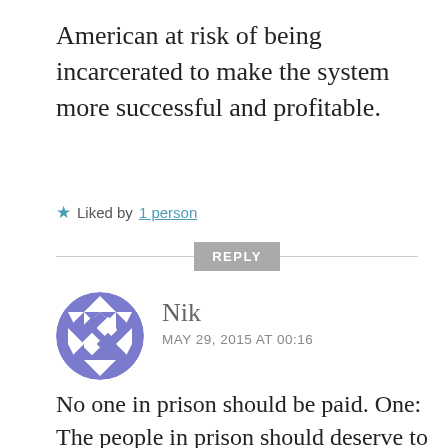American at risk of being incarcerated to make the system more successful and profitable.
★ Liked by 1 person
REPLY
[Figure (illustration): Circular avatar with blue/purple geometric checkerboard pattern for user Nik]
Nik
MAY 29, 2015 AT 00:16
No one in prison should be paid. One: The people in prison should deserve to be there; that's a huge issue, but a separate issue. Two: